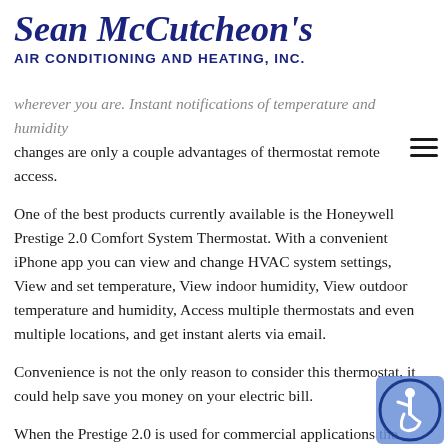Sean McCutcheon's Air Conditioning and Heating, Inc.
wherever you are. Instant notifications of temperature and humidity changes are only a couple advantages of thermostat remote access.
One of the best products currently available is the Honeywell Prestige 2.0 Comfort System Thermostat. With a convenient iPhone app you can view and change HVAC system settings, View and set temperature, View indoor humidity, View outdoor temperature and humidity, Access multiple thermostats and even multiple locations, and get instant alerts via email.
Convenience is not the only reason to consider this thermostat, it could help save you money on your electric bill.
When the Prestige 2.0 is used for commercial applications the programmable display will register occupied, unoccupied, override, holiday settings.